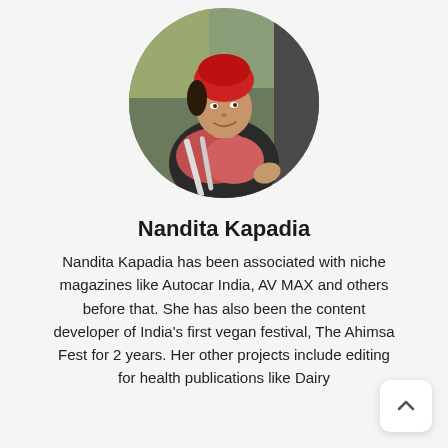[Figure (photo): Circular profile photo of Nandita Kapadia wearing a red head wrap and a colorful scarf, smiling, with a blurred outdoor background.]
Nandita Kapadia
Nandita Kapadia has been associated with niche magazines like Autocar India, AV MAX and others before that. She has also been the content developer of India's first vegan festival, The Ahimsa Fest for 2 years. Her other projects include editing for health publications like Dairy